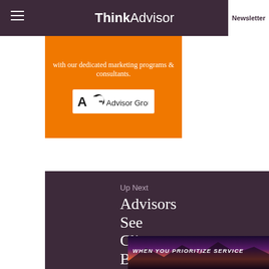ThinkAdvisor Newsletter
[Figure (infographic): Advisor Group orange advertisement banner with text 'with our dedicated marketing programs & consultants.' and Advisor Group logo]
Up Next
Advisors See Client Bene...
[Figure (photo): Tax blocks spelling TAX on pile of money/coins]
[Figure (infographic): Dark purple background advertisement with text 'WHEN YOU PRIORITIZE SERVICE']